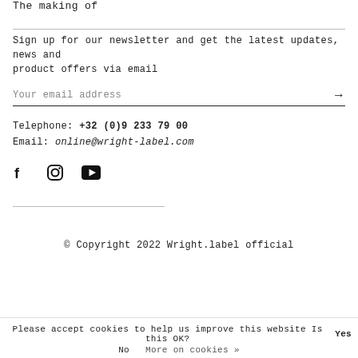The making of
Sign up for our newsletter and get the latest updates, news and product offers via email
Your email address →
Telephone: +32 (0)9 233 79 00
Email: online@wright-label.com
[Figure (other): Social media icons: Facebook, Instagram, YouTube]
© Copyright 2022 Wright.label official
Please accept cookies to help us improve this website Is this OK? Yes No More on cookies »